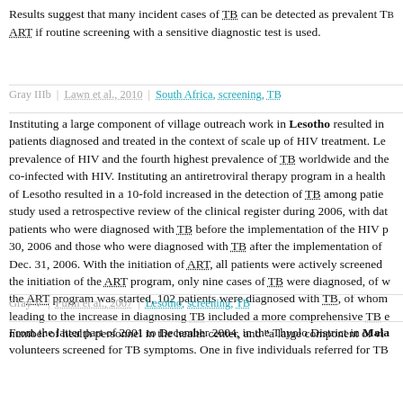Results suggest that many incident cases of TB can be detected as prevalent TB before ART if routine screening with a sensitive diagnostic test is used.
Gray IIIb | Lawn et al., 2010 | South Africa, screening, TB
Instituting a large component of village outreach work in Lesotho resulted in patients diagnosed and treated in the context of scale up of HIV treatment. Lesotho has the second highest prevalence of HIV and the fourth highest prevalence of TB worldwide and the majority of TB patients are co-infected with HIV. Instituting an antiretroviral therapy program in a health center in a rural area of Lesotho resulted in a 10-fold increased in the detection of TB among patients. The study used a retrospective review of the clinical register during 2006, with data comparing patients who were diagnosed with TB before the implementation of the HIV program Jan. 1– 30, 2006 and those who were diagnosed with TB after the implementation of the program July–Dec. 31, 2006. With the initiation of ART, all patients were actively screened for TB. Before the initiation of the ART program, only nine cases of TB were diagnosed, of which... After the ART program was started, 102 patients were diagnosed with TB, of whom... Factors leading to the increase in diagnosing TB included a more comprehensive TB evaluation, an increased number of health personnel in the health center, and "a large component of vi...
Gray V | Furin et al., 2007 | Lesotho, screening, TB
From the latter part of 2001 to December 2004, in the Thyolo District in Malawi, community volunteers screened for TB symptoms. One in five individuals referred for TB...